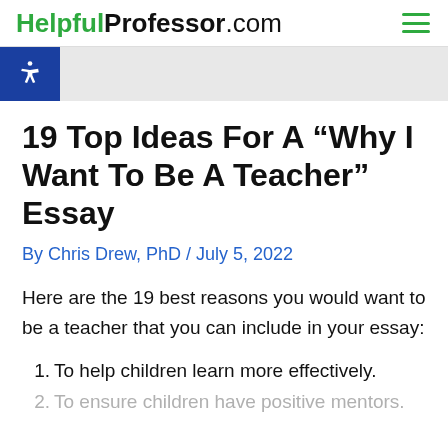HelpfulProfessor.com
19 Top Ideas For A “Why I Want To Be A Teacher” Essay
By Chris Drew, PhD / July 5, 2022
Here are the 19 best reasons you would want to be a teacher that you can include in your essay:
To help children learn more effectively.
To ensure children have positive mentors.